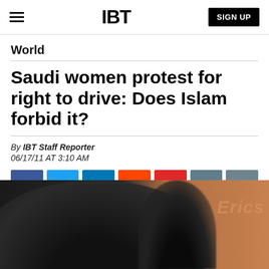IBT
World
Saudi women protest for right to drive: Does Islam forbid it?
By IBT Staff Reporter
06/17/11 AT 3:10 AM
[Figure (infographic): Social sharing buttons: Facebook, Twitter, LinkedIn, Reddit, Flipboard, Email, Comment]
[Figure (photo): Photo of two women wearing hijabs, with a blurred Ericsson sign in the background]